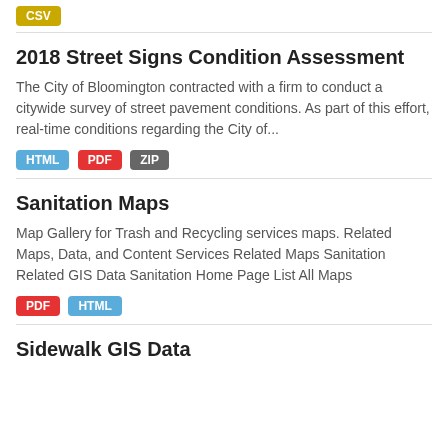CSV
2018 Street Signs Condition Assessment
The City of Bloomington contracted with a firm to conduct a citywide survey of street pavement conditions. As part of this effort, real-time conditions regarding the City of...
HTML PDF ZIP
Sanitation Maps
Map Gallery for Trash and Recycling services maps. Related Maps, Data, and Content Services Related Maps Sanitation Related GIS Data Sanitation Home Page List All Maps
PDF HTML
Sidewalk GIS Data